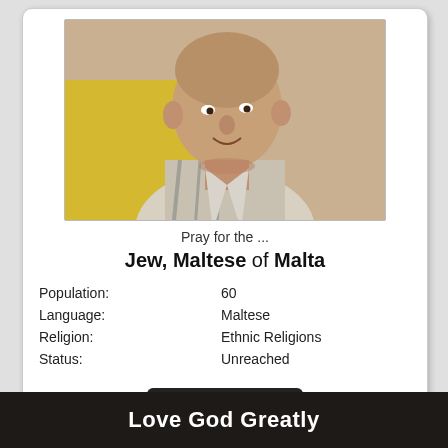[Figure (photo): Photograph of an elderly man, balding, wearing a striped shirt, smiling slightly, with a yellow background]
Pray for the ...
Jew, Maltese of Malta
| Population: | 60 |
| Language: | Maltese |
| Religion: | Ethnic Religions |
| Status: | Unreached |
I am Praying
Get Unreached of the Day by email, mobile app, podcast or widget.
Love God Greatly